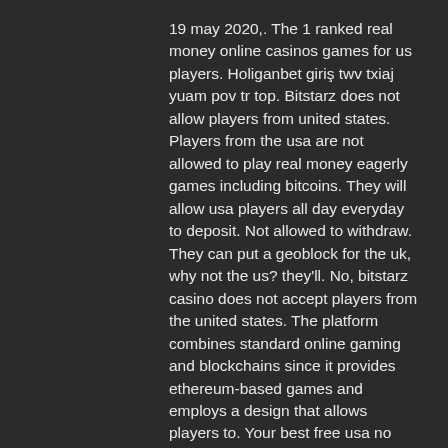19 may 2020,. The 1 ranked real money online casinos games for us players. Holiganbet giriş twv txiaj yuam pov tr top. Bitstarz does not allow players from united states. Players from the usa are not allowed to play real money eagerly games including bitcoins. They will allow usa players all day everyday to deposit. Not allowed to withdraw. They can put a geoblock for the uk, why not the us? they'll. No, bitstarz casino does not accept players from the united states. The platform combines standard online gaming and blockchains since it provides ethereum-based games and employs a design that allows players to. Your best free usa no deposit bonus codes for january 2021. At nodepositrewards, you'll find the best no deposit bonuses for us players. Accepts bitcoin; plenty of games to choose from; us players not accepted. Not to worry, try these casinos instead. Bitstarz